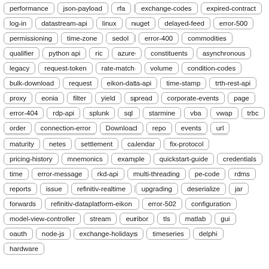performance, json-payload, rfa, exchange-codes, expired-contract, log-in, datastream-api, linux, nuget, delayed-feed, error-500, permissioning, time-zone, sedol, error-400, commodities, qualifier, python api, ric, azure, constituents, asynchronous, legacy, request-token, rate-match, volume, condition-codes, bulk-download, request, eikon-data-api, time-stamp, trth-rest-api, proxy, eonia, filter, yield, spread, corporate-events, page, error-404, rdp-api, splunk, sql, starmine, vba, vwap, trbc, order, connection-error, Download, repo, events, url, maturity, netes, settlement, calendar, fix-protocol, pricing-history, mnemonics, example, quickstart-guide, credentials, time, error-message, rkd-api, multi-threading, pe-code, rdms, reports, issue, refinitiv-realtime, upgrading, deserialize, jar, forwards, refinitiv-dataplatform-eikon, error-502, configuration, model-view-controller, stream, euribor, tls, matlab, gui, oauth, node-js, exchange-holidays, timeseries, delphi, hardware